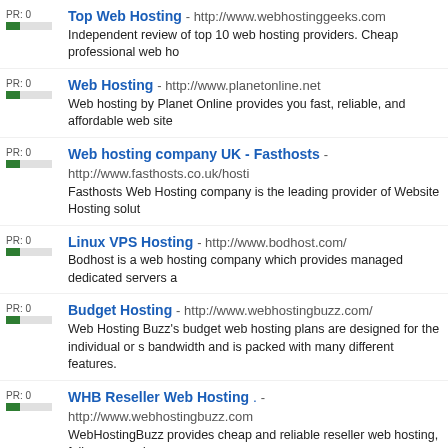Top Web Hosting - http://www.webhostinggeeks.com
Independent review of top 10 web hosting providers. Cheap professional web ho...
Web Hosting - http://www.planetonline.net
Web hosting by Planet Online provides you fast, reliable, and affordable web site...
Web hosting company UK - Fasthosts - http://www.fasthosts.co.uk/hosti...
Fasthosts Web Hosting company is the leading provider of Website Hosting solut...
Linux VPS Hosting - http://www.bodhost.com/
Bodhost is a web hosting company which provides managed dedicated servers a...
Budget Hosting - http://www.webhostingbuzz.com/
Web Hosting Buzz's budget web hosting plans are designed for the individual or s... bandwidth and is packed with many different features.
WHB Reseller Web Hosting . - http://www.webhostingbuzz.com
WebHostingBuzz provides cheap and reliable reseller web hosting, fully managed...
Exchange Hosting Solutions for Businesses – USA.NET - http://www...
Whether you're looking for an Exchange Hosting service to replace an in-house s... can help! Our Microsoft Exchange Hosting software-as-a-service (Sa
DirFly Web Directory - http://www.dirfly.com/
DirFly is a SEO friendly, Human edited web directory listing only quality websites. Submit your URL at DirFly
Mac Web Hosting Reviews - http://www.macwebhostingworld.com